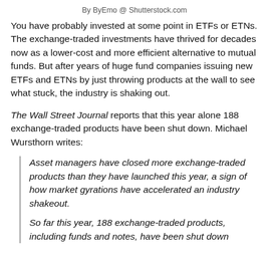By ByEmo @ Shutterstock.com
You have probably invested at some point in ETFs or ETNs. The exchange-traded investments have thrived for decades now as a lower-cost and more efficient alternative to mutual funds. But after years of huge fund companies issuing new ETFs and ETNs by just throwing products at the wall to see what stuck, the industry is shaking out.
The Wall Street Journal reports that this year alone 188 exchange-traded products have been shut down. Michael Wursthorn writes:
Asset managers have closed more exchange-traded products than they have launched this year, a sign of how market gyrations have accelerated an industry shakeout.
So far this year, 188 exchange-traded products, including funds and notes, have been shut down